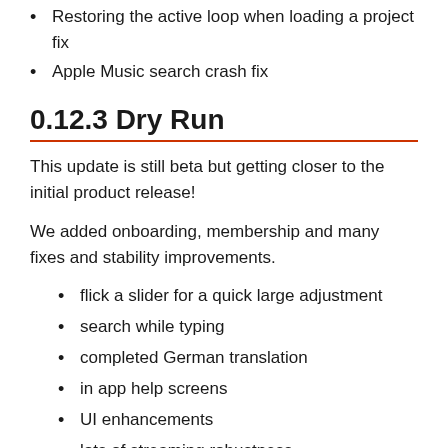Restoring the active loop when loading a project fix
Apple Music search crash fix
0.12.3 Dry Run
This update is still beta but getting closer to the initial product release!
We added onboarding, membership and many fixes and stability improvements.
flick a slider for a quick large adjustment
search while typing
completed German translation
in app help screens
UI enhancements
lots of streaming robustness
0.11.11 Stability